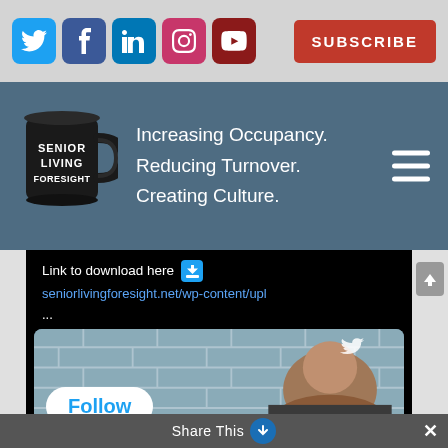[Figure (screenshot): Social media icon buttons: Twitter (blue), Facebook (dark blue), LinkedIn (blue), Instagram (pink), YouTube (dark red), and a red SUBSCRIBE button]
[Figure (logo): Senior Living Foresight logo: black coffee mug with white text 'SENIOR LIVING FORESIGHT' and tagline 'Increasing Occupancy. Reducing Turnover. Creating Culture.' on dark blue-grey header, with hamburger menu icon]
Link to download here ⬇ seniorlivingforesight.net/wp-content/upl ...
[Figure (screenshot): Embedded tweet preview showing a man in front of a brick wall background with a Twitter bird icon, a white 'Follow' pill button in blue text, and a Share This bar at the bottom]